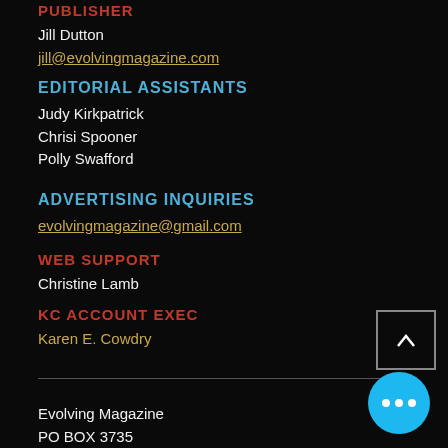PUBLISHER
Jill Dutton
jill@evolvingmagazine.com
EDITORIAL ASSISTANTS
Judy Kirkpatrick
Chrisi Spooner
Polly Swafford
ADVERTISING INQUIRIES
evolvingmagazine@gmail.com
WEB SUPPORT
Christine Lamb
KC ACCOUNT EXEC
Karen E. Cowdry
Evolving Magazine
PO BOX 3735
Shawnee, KS 66203